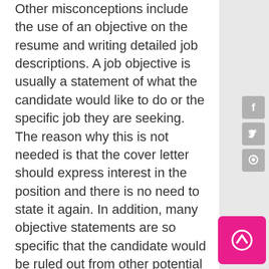Other misconceptions include the use of an objective on the resume and writing detailed job descriptions. A job objective is usually a statement of what the candidate would like to do or the specific job they are seeking. The reason why this is not needed is that the cover letter should express interest in the position and there is no need to state it again. In addition, many objective statements are so specific that the candidate would be ruled out from other potential positions that may be related to the advertised job. In addition, many jobs I have seen listed on resumes includes wording that either came from job descriptions or have been written like standard wording from these types of documents and that does it...